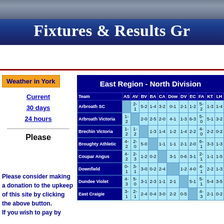Fixtures & Results Gr
Weather in York
Current
30 days
24 hours
Please
Please consider making a donation to the upkeep of this site by clicking the above button. If you wish to pay by
East Region - North Division
| Team | AS | AV | BV | BA | CA | Dow | DV | EC | FA | KT | LH |
| --- | --- | --- | --- | --- | --- | --- | --- | --- | --- | --- | --- |
| Arbroath SC |  | 2-1 | 5-2 | 1-4 | 3-2 | 0-1 | 2-1 | 1-2 | 5-2 | 1-3 | 1-4 |
| Arbroath Victoria | 1-2 |  | 2-0 | 2-5 | 2-0 | 4-1 | 1-3 | 6-3 | 5-0 | 5-1 | 3-2 |
| Brechin Victoria | 1-2 | 1-2 |  | 1-3 | 1-4 | 1-2 | 1-4 | 2-2 | 4-0 | 2-2 | 0-2 |
| Broughty Athletic | 4-2 | 2-0 | 5-0 |  | 1-1 | 1-1 | 2-1 | 2-0 | 6-1 | 3-3 | 1-3 |
| Coupar Angus | 4-2 | 2-3 | 1-2 | 0-2 |  | 3-1 | 0-6 | 3-1 | 2-1 | 1-1 | 1-5 |
| Downfield | 0-1 | 3-1 | 3-0 | 0-2 | 2-4 |  | 1-2 | 4-0 | 4-1 | 2-2 | 1-3 |
| Dundee Violet | 4-3 | 5-0 | 3-1 | 2-3 | 1-1 | 2-1 |  | 5-1 | 5-1 | 5-4 | 3-5 |
| East Craigie | 3-1 | 2-1 | 2-4 | 0-4 | 3-0 | 2-2 | 0-5 |  | 4-3 | 2-1 | 0-2 |